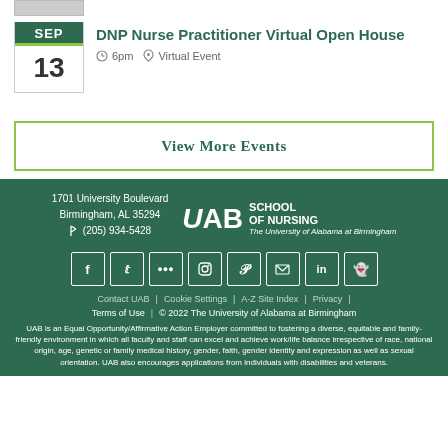DNP Nurse Practitioner Virtual Open House
6pm  Virtual Event
View More Events
1701 University Boulevard Birmingham, AL 35294  (205) 934-5428  UAB School of Nursing The University of Alabama at Birmingham
Contact UAB | Cookie Settings | A-Z Site Index | Privacy | Terms of Use | © 2022 The University of Alabama at Birmingham
UAB is an Equal Opportunity/Affirmative Action Employer committed to fostering a diverse, equitable and family-friendly environment in which all faculty and staff can excel and achieve work/life balance irrespective of race, national origin, age, genetic or family medical history, gender, faith, gender identity and expression as well as sexual orientation. UAB also encourages applications from individuals with disabilities and veterans.